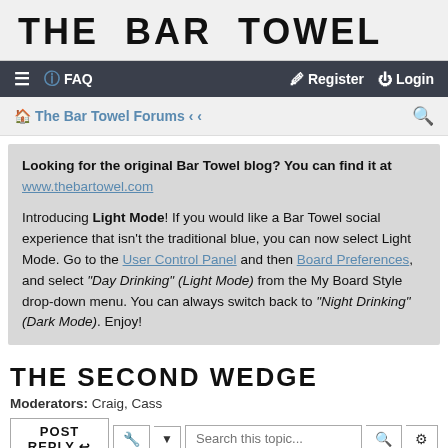THE BAR TOWEL
≡  FAQ    Register  Login
The Bar Towel Forums · ·
Looking for the original Bar Towel blog? You can find it at www.thebartowel.com

Introducing Light Mode! If you would like a Bar Towel social experience that isn't the traditional blue, you can now select Light Mode. Go to the User Control Panel and then Board Preferences, and select "Day Drinking" (Light Mode) from the My Board Style drop-down menu. You can always switch back to "Night Drinking" (Dark Mode). Enjoy!
THE SECOND WEDGE
Moderators: Craig, Cass
POST REPLY  🔧  ▾  Search this topic...  🔍  ⚙
4 posts • Page 1 of 1